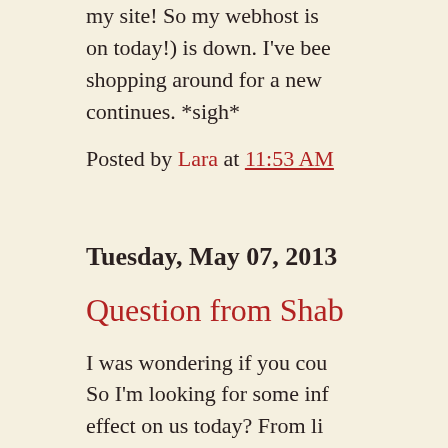my site! So my webhost is (on today!) is down. I've been shopping around for a new continues. *sigh*
Posted by Lara at 11:53 AM
Tuesday, May 07, 2013
Question from Sha...
I was wondering if you cou... So I'm looking for some inf... effect on us today? From li...
I'm looking forward to your...
Posted by Lara at 2:17 PM
Wednesday, May 01, 20...
Question from Kath...